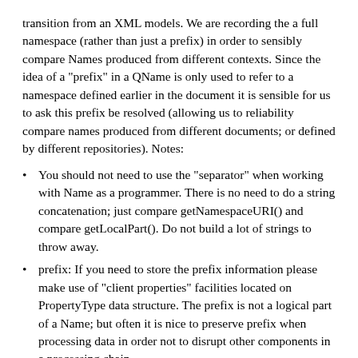transition from an XML models. We are recording the a full namespace (rather than just a prefix) in order to sensibly compare Names produced from different contexts. Since the idea of a "prefix" in a QName is only used to refer to a namespace defined earlier in the document it is sensible for us to ask this prefix be resolved (allowing us to reliability compare names produced from different documents; or defined by different repositories). Notes:
You should not need to use the "separator" when working with Name as a programmer. There is no need to do a string concatenation; just compare getNamespaceURI() and compare getLocalPart(). Do not build a lot of strings to throw away.
prefix: If you need to store the prefix information please make use of "client properties" facilities located on PropertyType data structure. The prefix is not a logical part of a Name; but often it is nice to preserve prefix when processing data in order not to disrupt other components in a processing chain.
Name is to be understood with respect to its